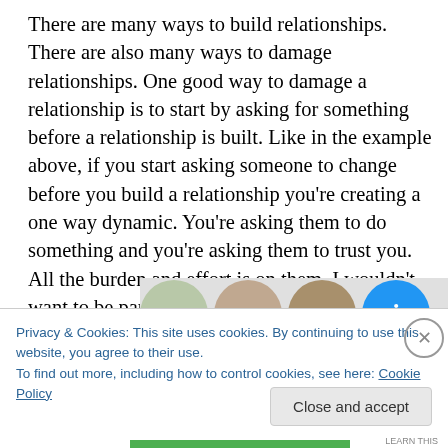There are many ways to build relationships. There are also many ways to damage relationships. One good way to damage a relationship is to start by asking for something before a relationship is built. Like in the example above, if you start asking someone to change before you build a relationship you’re creating a one way dynamic. You’re asking them to do something and you’re asking them to trust you. All the burden and effort is on them. I wouldn’t want to be part of that relationship.
[Figure (photo): Row of four circular avatar photos partially visible at the bottom of the text area, followed by a cookie consent banner overlay.]
Privacy & Cookies: This site uses cookies. By continuing to use this website, you agree to their use.
To find out more, including how to control cookies, see here: Cookie Policy
Close and accept